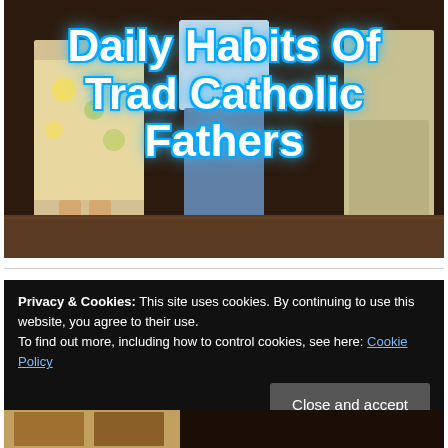[Figure (photo): Photo of a family from behind walking together — woman in floral dress, child in blue jeans and dotted shirt, adult in khakis — in a church or hall setting. Overlaid with large bold white text with blue glow reading 'Daily Habits Of Trad Catholic Fathers'.]
Privacy & Cookies: This site uses cookies. By continuing to use this website, you agree to their use.
To find out more, including how to control cookies, see here: Cookie Policy
Close and accept
[Figure (photo): Partial preview of a book or image at the bottom of the page, partially obscured.]